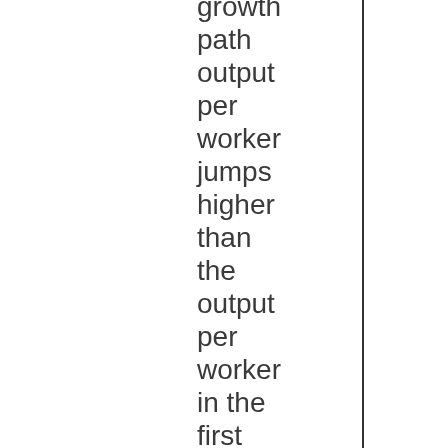growth path output per worker jumps higher than the output per worker in the first year after the shock, but it